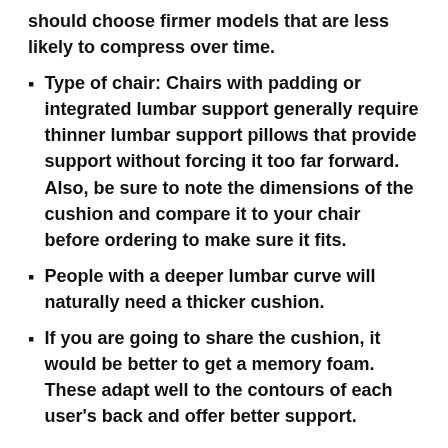should choose firmer models that are less likely to compress over time.
Type of chair: Chairs with padding or integrated lumbar support generally require thinner lumbar support pillows that provide support without forcing it too far forward. Also, be sure to note the dimensions of the cushion and compare it to your chair before ordering to make sure it fits.
People with a deeper lumbar curve will naturally need a thicker cushion.
If you are going to share the cushion, it would be better to get a memory foam. These adapt well to the contours of each user's back and offer better support.
Is a lumbar support pillow the same as a back brace?